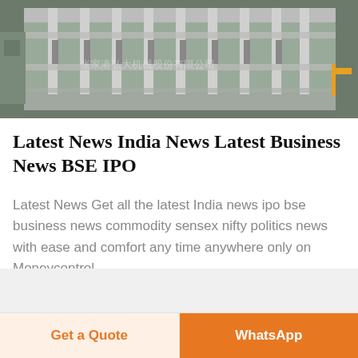[Figure (photo): Industrial filling/packaging machine equipment, metallic silver/grey machinery with Chinese watermark text visible]
Latest News India News Latest Business News BSE IPO
Latest News Get all the latest India news ipo bse business news commodity sensex nifty politics news with ease and comfort any time anywhere only on Moneycontrol
Get a Quote
WhatsApp